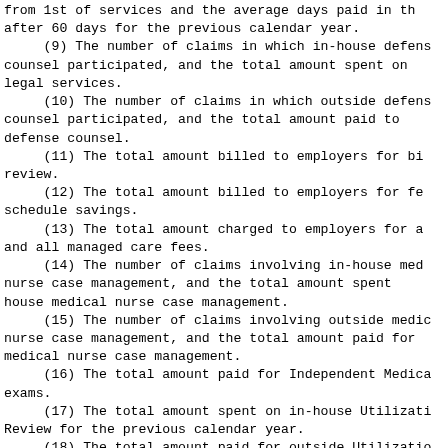from 1st of services and the average days paid in the after 60 days for the previous calendar year.
(9) The number of claims in which in-house defense counsel participated, and the total amount spent on legal services.
(10) The number of claims in which outside defense counsel participated, and the total amount paid to defense counsel.
(11) The total amount billed to employers for bill review.
(12) The total amount billed to employers for fee schedule savings.
(13) The total amount charged to employers for all and all managed care fees.
(14) The number of claims involving in-house medical nurse case management, and the total amount spent house medical nurse case management.
(15) The number of claims involving outside medical nurse case management, and the total amount paid for medical nurse case management.
(16) The total amount paid for Independent Medical exams.
(17) The total amount spent on in-house Utilization Review for the previous calendar year.
(18) The total amount paid for outside Utilization Review for the previous calendar year.
The Department shall make the submitted information available on the Department's Internet website or such media as appropriate in a form useful for consumers.
(Source: P.A. 102-37, eff. 7-1-21.)